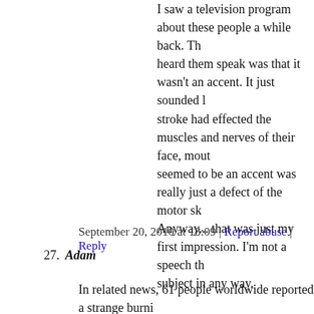I saw a television program about these people a while back. Th heard them speak was that it wasn't an accent. It just sounded l stroke had effected the muscles and nerves of their face, mout seemed to be an accent was really just a defect of the motor sk Anyway... that was just my first impression. I'm not a speech th subject in any way.
September 20, 2010 at 18:09 | Report abuse | Reply
27. Adam
In related news, 61 people worldwide reported a strange burni and second toes every time Glenn Beck compares Obama to S
September 20, 2010 at 18:12 | Report abuse | Reply
tapu
Are you interested only in the masses? Unusual phenom insight into other (and for you: more widespread) circum
September 20, 2010 at 18:15 | Report abuse |
Adam
@tapu – Actually, yes. I'm all for unusual phenomenons interested in something which has a little more substanc people (on average) in our country. Then again, I posted